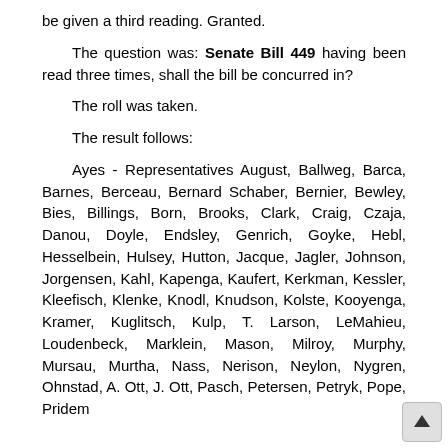be given a third reading. Granted.
The question was: Senate Bill 449 having been read three times, shall the bill be concurred in?
The roll was taken.
The result follows:
Ayes - Representatives August, Ballweg, Barca, Barnes, Berceau, Bernard Schaber, Bernier, Bewley, Bies, Billings, Born, Brooks, Clark, Craig, Czaja, Danou, Doyle, Endsley, Genrich, Goyke, Hebl, Hesselbein, Hulsey, Hutton, Jacque, Jagler, Johnson, Jorgensen, Kahl, Kapenga, Kaufert, Kerkman, Kessler, Kleefisch, Klenke, Knodl, Knudson, Kolste, Kooyenga, Kramer, Kuglitsch, Kulp, T. Larson, LeMahieu, Loudenbeck, Marklein, Mason, Milroy, Murphy, Mursau, Murtha, Nass, Nerison, Neylon, Nygren, Ohnstad, A. Ott, J. Ott, Pasch, Petersen, Petryk, Pope, Pridem